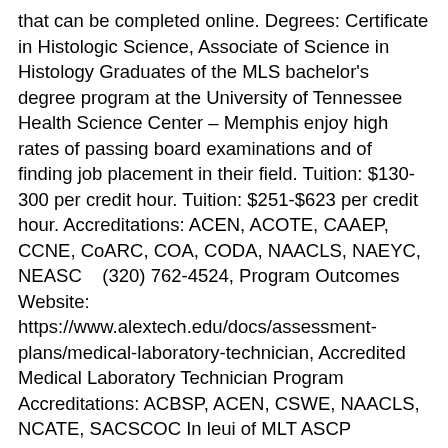that can be completed online. Degrees: Certificate in Histologic Science, Associate of Science in Histology Graduates of the MLS bachelor's degree program at the University of Tennessee Health Science Center – Memphis enjoy high rates of passing board examinations and of finding job placement in their field. Tuition: $130-300 per credit hour. Tuition: $251-$623 per credit hour. Accreditations: ACEN, ACOTE, CAAEP, CCNE, CoARC, COA, CODA, NAACLS, NAEYC, NEASC   (320) 762-4524, Program Outcomes Website: https://www.alextech.edu/docs/assessment-plans/medical-laboratory-technician, Accredited Medical Laboratory Technician Program Accreditations: ACBSP, ACEN, CSWE, NAACLS, NCATE, SACSCOC In leui of MLT ASCP certification, MT (AAB) or MT (AMT) is acceptable. Students pursing a Medical Laboratory Technology degree at Rasmussen College are given a customized, flexible program that includes career path guidance. 20 Highest Paying Associate Degree Jobs Degrees: Associate of Science in Histologic Technology Accredited Medical Laboratory